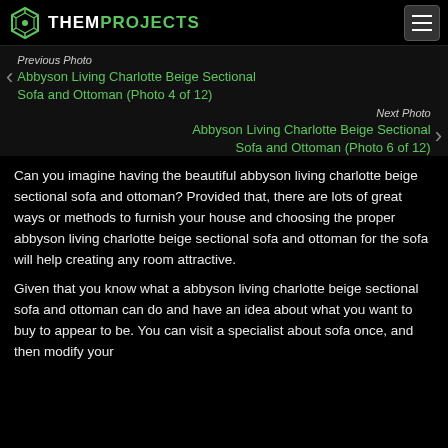THEMPROJECTS
Previous Photo
Abbyson Living Charlotte Beige Sectional Sofa and Ottoman (Photo 4 of 12)
Next Photo
Abbyson Living Charlotte Beige Sectional Sofa and Ottoman (Photo 6 of 12)
Can you imagine having the beautiful abbyson living charlotte beige sectional sofa and ottoman? Provided that, there are lots of great ways or methods to furnish your house and choosing the proper abbyson living charlotte beige sectional sofa and ottoman for the sofa will help creating any room attractive.
Given that you know what a abbyson living charlotte beige sectional sofa and ottoman can do and have an idea about what you want to buy to appear to be. You can visit a specialist about sofa once, and then modify your